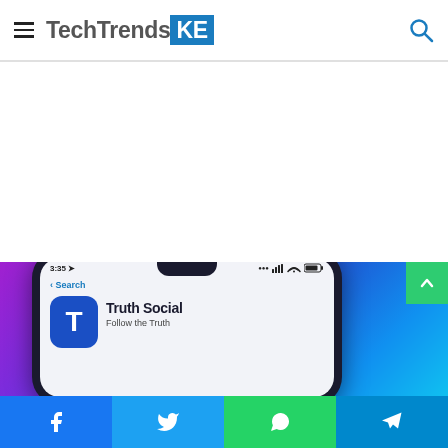TechTrendsKE
[Figure (photo): Smartphone screen showing the Truth Social app with text 'Truth Social — Follow the Truth', time shown as 3:35, on a colorful purple and blue background]
Facebook | Twitter | WhatsApp | Telegram social share buttons